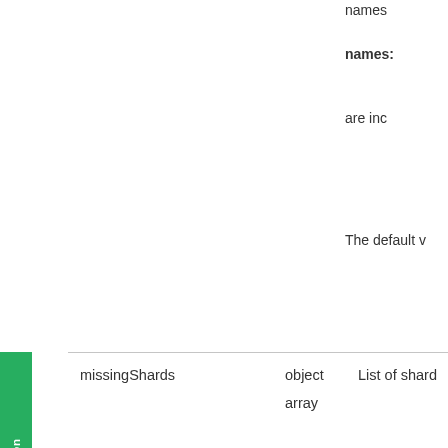names
names:
are inc
The default v
| Field | Type | Description |
| --- | --- | --- |
| missingShards | object
array | List of shard |
NOTE:
This appe
snapshots
In steady sta
Backup Age
a snapshot i
from the sna
is a cluster c